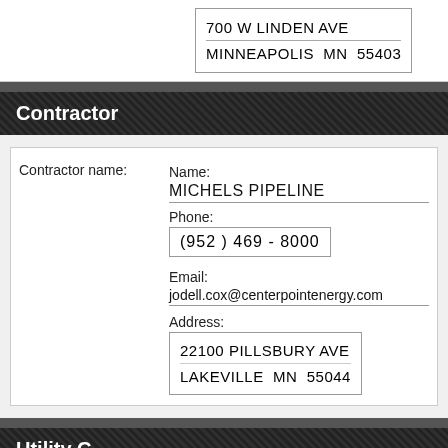700 W LINDEN AVE
MINNEAPOLIS  MN  55403
Contractor
| Contractor name: | Name:
MICHELS PIPELINE
Phone:
(952 ) 469  - 8000
Email:
jodell.cox@centerpointenergy.com
Address:
22100 PILLSBURY AVE
LAKEVILLE  MN  55044 |